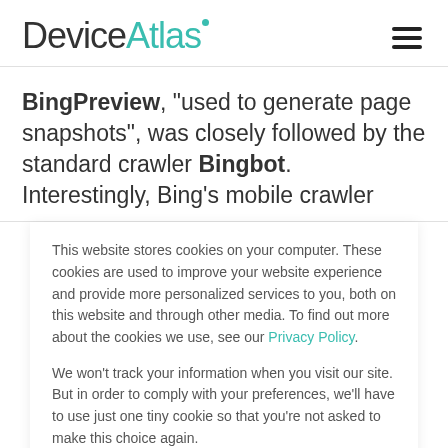DeviceAtlas
BingPreview, "used to generate page snapshots", was closely followed by the standard crawler Bingbot. Interestingly, Bing's mobile crawler
This website stores cookies on your computer. These cookies are used to improve your website experience and provide more personalized services to you, both on this website and through other media. To find out more about the cookies we use, see our Privacy Policy.

We won't track your information when you visit our site. But in order to comply with your preferences, we'll have to use just one tiny cookie so that you're not asked to make this choice again.
Accept | Decline